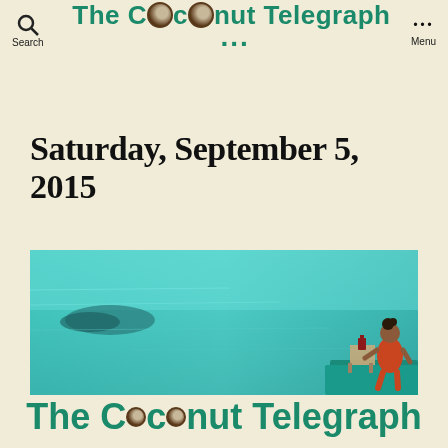The Coconut Telegraph
Saturday, September 5, 2015
[Figure (photo): A woman in an orange swimsuit sitting on a dock or platform over vivid turquoise tropical ocean water, viewed from behind, with a small table beside her.]
The Coconut Telegraph